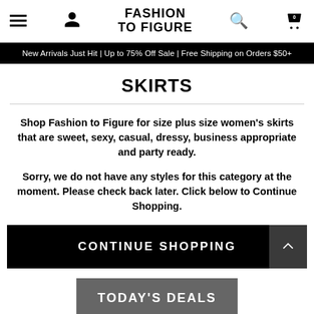FASHION TO FIGURE — navigation bar with hamburger menu, user icon, logo, search icon, and cart (0)
New Arrivals Just Hit | Up to 75% Off Sale | Free Shipping on Orders $50+
SKIRTS
Shop Fashion to Figure for size plus size women's skirts that are sweet, sexy, casual, dressy, business appropriate and party ready.
Sorry, we do not have any styles for this category at the moment. Please check back later. Click below to Continue Shopping.
CONTINUE SHOPPING
TODAY'S DEALS